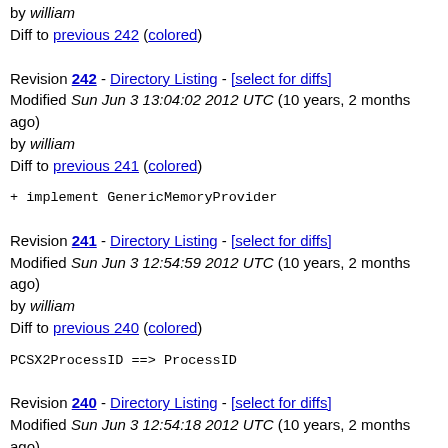by william
Diff to previous 242 (colored)
Revision 242 - Directory Listing - [select for diffs]
Modified Sun Jun 3 13:04:02 2012 UTC (10 years, 2 months ago)
by william
Diff to previous 241 (colored)
+ implement GenericMemoryProvider
Revision 241 - Directory Listing - [select for diffs]
Modified Sun Jun 3 12:54:59 2012 UTC (10 years, 2 months ago)
by william
Diff to previous 240 (colored)
PCSX2ProcessID ==> ProcessID
Revision 240 - Directory Listing - [select for diffs]
Modified Sun Jun 3 12:54:18 2012 UTC (10 years, 2 months ago)
by william
Diff to previous 239 (colored)
+ implement GenericMemoryProvider : NOTE: config is null